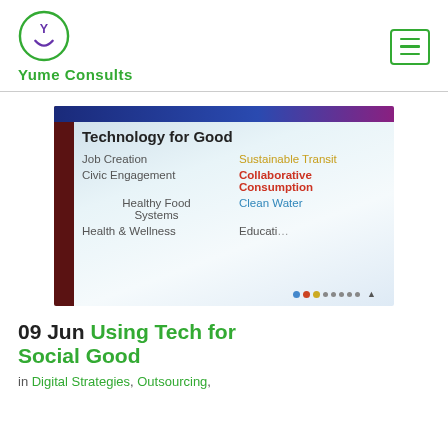Yume Consults
[Figure (photo): A photograph of a presentation slide titled 'Technology for Good' listing topics: Job Creation, Sustainable Transit, Civic Engagement, Collaborative Consumption, Healthy Food Systems, Clean Water, Health & Wellness, Education]
09 Jun Using Tech for Social Good
in Digital Strategies, Outsourcing,